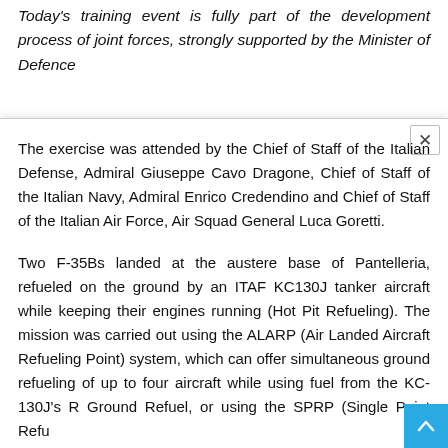Today's training event is fully part of the development process of joint forces, strongly supported by the Minister of Defence
The exercise was attended by the Chief of Staff of the Italian Defense, Admiral Giuseppe Cavo Dragone, Chief of Staff of the Italian Navy, Admiral Enrico Credendino and Chief of Staff of the Italian Air Force, Air Squad General Luca Goretti.
Two F-35Bs landed at the austere base of Pantelleria, refueled on the ground by an ITAF KC130J tanker aircraft while keeping their engines running (Hot Pit Refueling). The mission was carried out using the ALARP (Air Landed Aircraft Refueling Point) system, which can offer simultaneous ground refueling of up to four aircraft while using fuel from the KC-130J's R Ground Refuel, or using the SPRP (Single Point Refu...